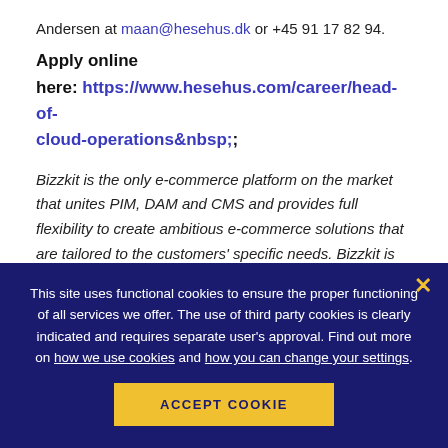Andersen at maan@hesehus.dk or +45 91 17 82 94.
Apply online
here: https://www.hesehus.com/career/head-of-cloud-operations&nbsp;
Bizzkit is the only e-commerce platform on the market that unites PIM, DAM and CMS and provides full flexibility to create ambitious e-commerce solutions that are tailored to the customers' specific needs. Bizzkit is part of Hesehus A/S
This site uses functional cookies to ensure the proper functioning of all services we offer. The use of third party cookies is clearly indicated and requires separate user's approval. Find out more on how we use cookies and how you can change your settings.
ACCEPT COOKIE